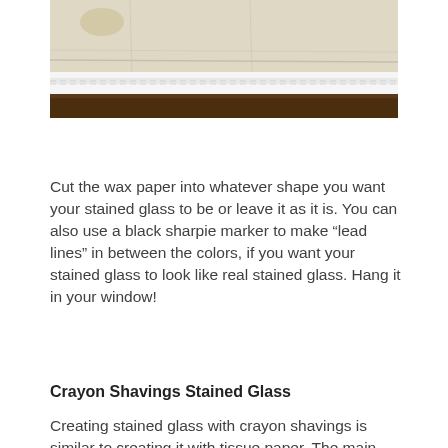[Figure (photo): Close-up photograph of a white fabric or textile folded over a dark wooden surface, showing the edge and seam of what appears to be wax paper or cloth material.]
Cut the wax paper into whatever shape you want your stained glass to be or leave it as it is. You can also use a black sharpie marker to make “lead lines” in between the colors, if you want your stained glass to look like real stained glass. Hang it in your window!
Crayon Shavings Stained Glass
Creating stained glass with crayon shavings is similar to creating it with tissue paper. The main